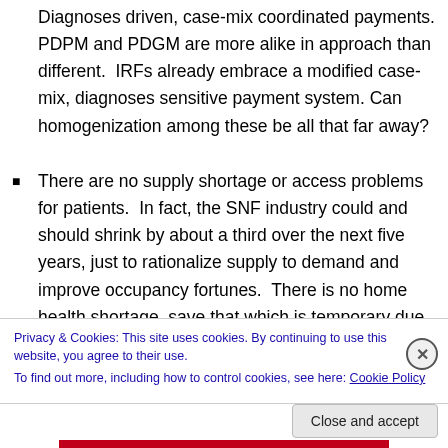Diagnoses driven, case-mix coordinated payments. PDPM and PDGM are more alike in approach than different. IRFs already embrace a modified case-mix, diagnoses sensitive payment system. Can homogenization among these be all that far away?
There are no supply shortage or access problems for patients. In fact, the SNF industry could and should shrink by about a third over the next five years, just to rationalize supply to demand and improve occupancy fortunes. There is no home health shortage, save that which is temporary due to staffing issues in certain
Privacy & Cookies: This site uses cookies. By continuing to use this website, you agree to their use.
To find out more, including how to control cookies, see here: Cookie Policy